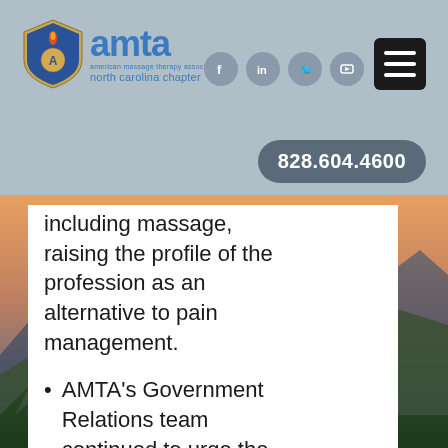AMTA North Carolina Chapter — 828.604.4600
including massage, raising the profile of the profession as an alternative to pain management.
AMTA's Government Relations team continued to urge the CDC to include massage therapy in updated guidelines for pain management. The